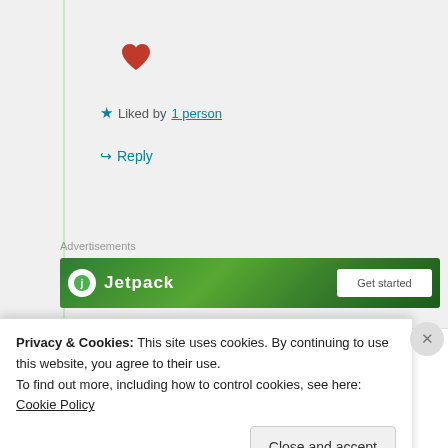[Figure (other): Red heart icon (like button)]
★ Liked by 1 person
↳ Reply
Advertisements
[Figure (other): Jetpack advertisement banner with green background]
bgddyjim
Privacy & Cookies: This site uses cookies. By continuing to use this website, you agree to their use.
To find out more, including how to control cookies, see here: Cookie Policy
Close and accept